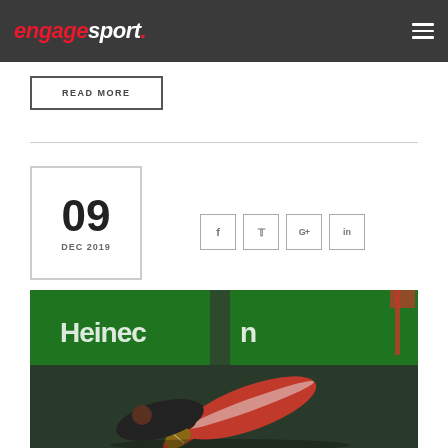engagesport
READ MORE
09 DEC 2019
[Figure (other): Social media share icons: Facebook, Twitter, Google+, LinkedIn]
[Figure (photo): Rugby player in red and white jersey diving to score a try, Heineken Champions Cup advertisement boards visible in background]